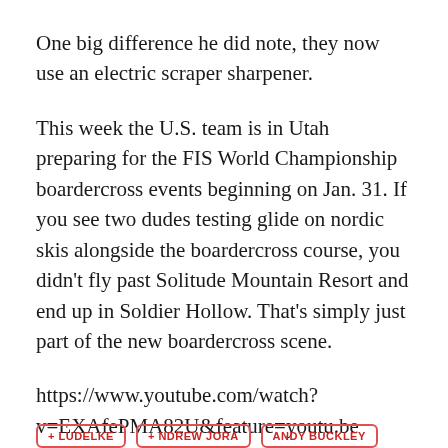One big difference he did note, they now use an electric scraper sharpener.
This week the U.S. team is in Utah preparing for the FIS World Championship boardercross events beginning on Jan. 31. If you see two dudes testing glide on nordic skis alongside the boardercross course, you didn’t fly past Solitude Mountain Resort and end up in Soldier Hollow. That’s simply just part of the new boardercross scene.
https://www.youtube.com/watch?v=EXAfePMA82U&feature=youtu.be